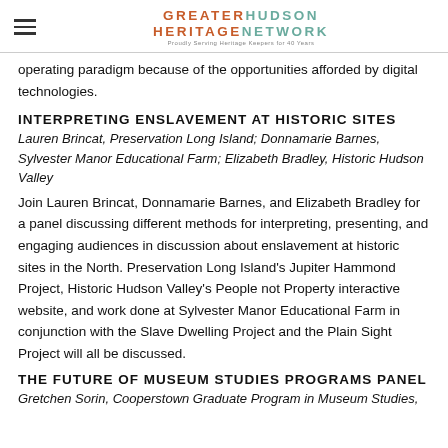GREATER HUDSON HERITAGE NETWORK — Proudly Serving Heritage Keepers for 40 Years
operating paradigm because of the opportunities afforded by digital technologies.
INTERPRETING ENSLAVEMENT AT HISTORIC SITES
Lauren Brincat, Preservation Long Island; Donnamarie Barnes, Sylvester Manor Educational Farm; Elizabeth Bradley, Historic Hudson Valley
Join Lauren Brincat, Donnamarie Barnes, and Elizabeth Bradley for a panel discussing different methods for interpreting, presenting, and engaging audiences in discussion about enslavement at historic sites in the North. Preservation Long Island's Jupiter Hammond Project, Historic Hudson Valley's People not Property interactive website, and work done at Sylvester Manor Educational Farm in conjunction with the Slave Dwelling Project and the Plain Sight Project will all be discussed.
THE FUTURE OF MUSEUM STUDIES PROGRAMS PANEL
Gretchen Sorin, Cooperstown Graduate Program in Museum Studies,